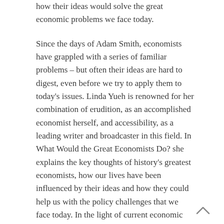how their ideas would solve the great economic problems we face today.
Since the days of Adam Smith, economists have grappled with a series of familiar problems – but often their ideas are hard to digest, even before we try to apply them to today's issues. Linda Yueh is renowned for her combination of erudition, as an accomplished economist herself, and accessibility, as a leading writer and broadcaster in this field. In What Would the Great Economists Do? she explains the key thoughts of history's greatest economists, how our lives have been influenced by their ideas and how they could help us with the policy challenges that we face today. In the light of current economic problems, and in particular economic growth, Yueh explores the thoughts of economists